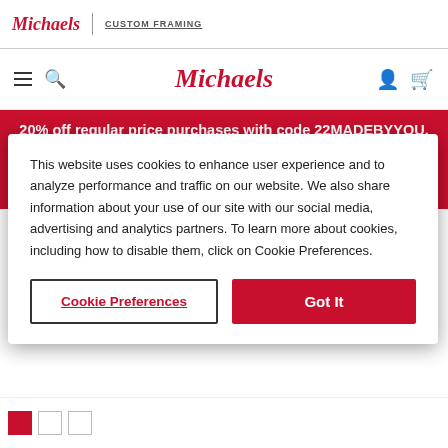Michaels | CUSTOM FRAMING
[Figure (logo): Michaels logo in red italic script with navigation icons (hamburger menu, search, user account, cart)]
20% off regular price purchases with code 22MADEBYYOU. Free shipping on orders $49+
This website uses cookies to enhance user experience and to analyze performance and traffic on our website. We also share information about your use of our site with our social media, advertising and analytics partners. To learn more about cookies, including how to disable them, click on Cookie Preferences.
Cookie Preferences   Got It